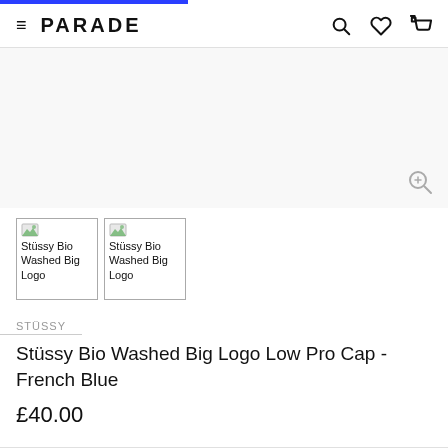PARADE — navigation bar with search, wishlist, and cart icons
[Figure (screenshot): Main product image area — large white/light grey empty product image with zoom icon at bottom right]
[Figure (photo): Two product thumbnail images side by side: 'Stüssy Bio Washed Big Logo' (image 1) and 'Stüssy Bio Washed Big Logo' (image 2), each with a broken/placeholder image icon]
STÜSSY
Stüssy Bio Washed Big Logo Low Pro Cap - French Blue
£40.00